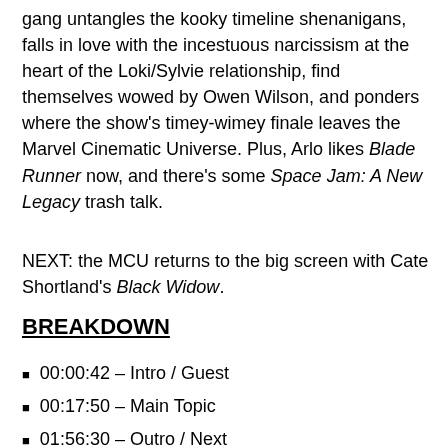gang untangles the kooky timeline shenanigans, falls in love with the incestuous narcissism at the heart of the Loki/Sylvie relationship, find themselves wowed by Owen Wilson, and ponders where the show's timey-wimey finale leaves the Marvel Cinematic Universe. Plus, Arlo likes Blade Runner now, and there's some Space Jam: A New Legacy trash talk.
NEXT: the MCU returns to the big screen with Cate Shortland's Black Widow.
BREAKDOWN
00:00:42  –  Intro / Guest
00:17:50  –  Main Topic
01:56:30  –  Outro / Next